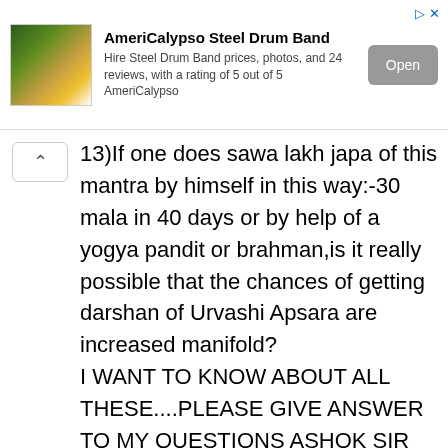[Figure (screenshot): Advertisement banner for AmeriCalypso Steel Drum Band with logo image, text description, and Open button]
13)If one does sawa lakh japa of this mantra by himself in this way:-30 mala in 40 days or by help of a yogya pandit or brahman,is it really possible that the chances of getting darshan of Urvashi Apsara are increased manifold?
I WANT TO KNOW ABOUT ALL THESE....PLEASE GIVE ANSWER TO MY QUESTIONS ASHOK SIR AND NEEL SIR BECAUSE koi bhi pratyakshikaran sadhana karne se pehle sab baat janna behaad jaroori hota hai
AND I M VERY VERY